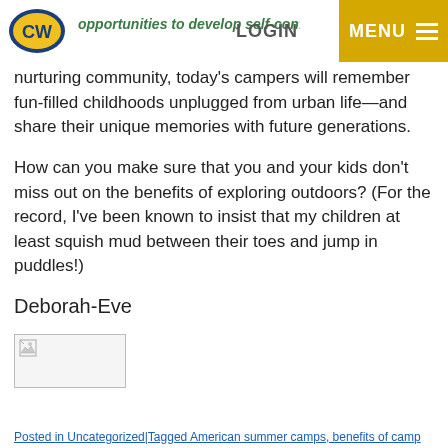[Figure (logo): CW logo with oval shape, gold and blue colors]
LOGIN   MENU
opportunities to develop self-confidence within a nurturing community, today's campers will remember fun-filled childhoods unplugged from urban life—and share their unique memories with future generations.
How can you make sure that you and your kids don't miss out on the benefits of exploring outdoors? (For the record, I've been known to insist that my children at least squish mud between their toes and jump in puddles!)
Deborah-Eve
[Figure (photo): Broken/missing image placeholder]
Posted in Uncategorized|Tagged American summer camps, benefits of camp